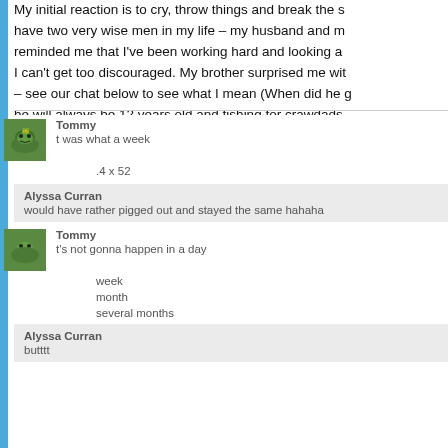My initial reaction is to cry, throw things and break the scale, but I have two very wise men in my life – my husband and my brother. My husband reminded me that I've been working hard and looking at the big picture and I can't get too discouraged. My brother surprised me with a different tactic – see our chat below to see what I mean (When did he grow up? In my mind he will always be 12 years old and fishing for crawdads in the neighborhood creek.)
Tommy
t was what a week
.4 x 52
Alyssa Curran
would have rather pigged out and stayed the same hahaha
Tommy
t's not gonna happen in a day
week
month
several months
Alyssa Curran
butttt